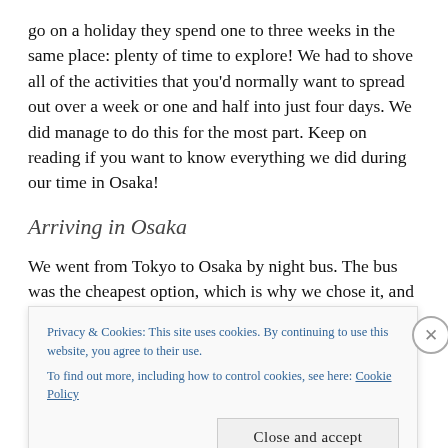go on a holiday they spend one to three weeks in the same place: plenty of time to explore! We had to shove all of the activities that you'd normally want to spread out over a week or one and half into just four days. We did manage to do this for the most part. Keep on reading if you want to know everything we did during our time in Osaka!
Arriving in Osaka
We went from Tokyo to Osaka by night bus. The bus was the cheapest option, which is why we chose it, and we chose the nightbus so that we would not waste any
Privacy & Cookies: This site uses cookies. By continuing to use this website, you agree to their use.
To find out more, including how to control cookies, see here: Cookie Policy
Close and accept